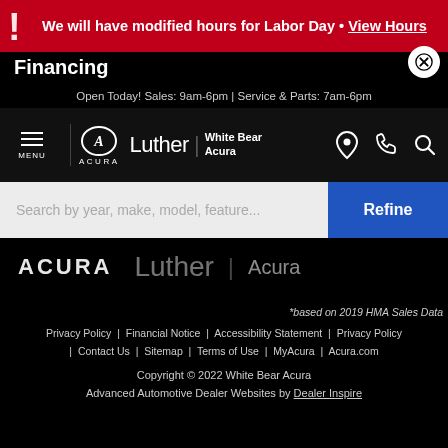We will have modified hours for Labor Day • View Hours
Financing
Open Today! Sales: 9am-6pm | Service & Parts: 7am-6pm
[Figure (logo): Acura logo and Luther White Bear Acura dealership navigation bar with menu icon, location pin, phone, and search icons]
Search by year, make, model, feature...
[Figure (logo): ACURA and Luther | Acura watermark logos on black background]
*based on 2019 HMA Sales Data
Privacy Policy  |  Financial Notice  |  Accessibility Statement  |  Privacy Policy  |  Contact Us  |  Sitemap  |  Terms of Use  |  MyAcura  |  Acura.com
Copyright © 2022 White Bear Acura
Advanced Automotive Dealer Websites by Dealer Inspire